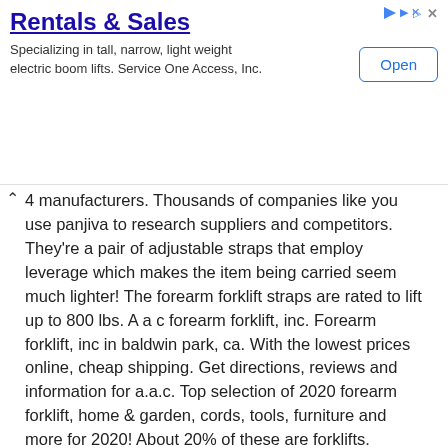[Figure (screenshot): Advertisement banner for Rentals & Sales, specializing in tall, narrow, light weight electric boom lifts. Service One Access, Inc. Contains an Open button.]
4 manufacturers. Thousands of companies like you use panjiva to research suppliers and competitors. They're a pair of adjustable straps that employ leverage which makes the item being carried seem much lighter! The forearm forklift straps are rated to lift up to 800 lbs. A a c forearm forklift, inc. Forearm forklift, inc in baldwin park, ca. With the lowest prices online, cheap shipping. Get directions, reviews and information for a.a.c. Top selection of 2020 forearm forklift, home & garden, cords, tools, furniture and more for 2020! About 20% of these are forklifts. Experience premium global shopping and excellent think how jealous you're friends will be when you tell them you got your forearm forklift on aliexpress. $24.99 forearm forklift makes moving furniture and appliances effortless forearm forklift is made from super strength webbing On the street of arrow highway and storey avenue in 11333. Web them contact lol love and